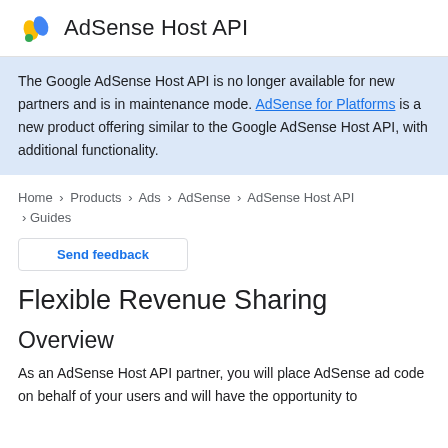AdSense Host API
The Google AdSense Host API is no longer available for new partners and is in maintenance mode. AdSense for Platforms is a new product offering similar to the Google AdSense Host API, with additional functionality.
Home > Products > Ads > AdSense > AdSense Host API > Guides
Send feedback
Flexible Revenue Sharing
Overview
As an AdSense Host API partner, you will place AdSense ad code on behalf of your users and will have the opportunity to